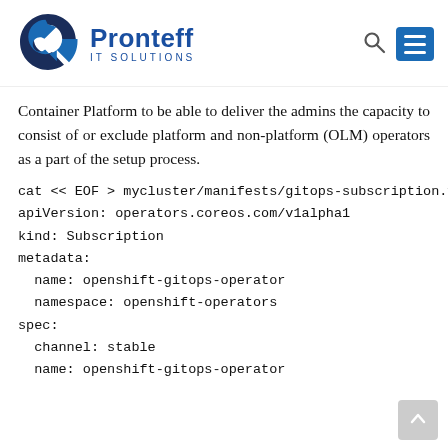Pronteff IT Solutions
Container Platform to be able to deliver the admins the capacity to consist of or exclude platform and non-platform (OLM) operators as a part of the setup process.
cat << EOF > mycluster/manifests/gitops-subscription.yaml
apiVersion: operators.coreos.com/v1alpha1
kind: Subscription
metadata:
  name: openshift-gitops-operator
  namespace: openshift-operators
spec:
  channel: stable
  name: openshift-gitops-operator